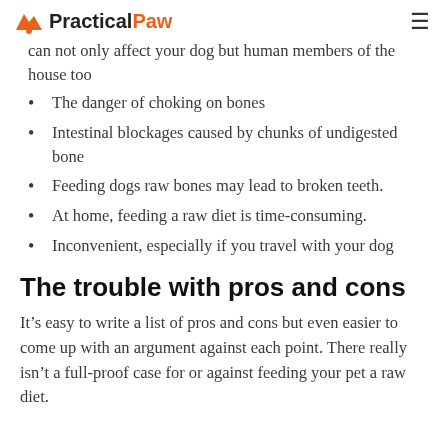PracticalPaw
can not only affect your dog but human members of the house too
The danger of choking on bones
Intestinal blockages caused by chunks of undigested bone
Feeding dogs raw bones may lead to broken teeth.
At home, feeding a raw diet is time-consuming.
Inconvenient, especially if you travel with your dog
The trouble with pros and cons
It’s easy to write a list of pros and cons but even easier to come up with an argument against each point. There really isn’t a full-proof case for or against feeding your pet a raw diet.